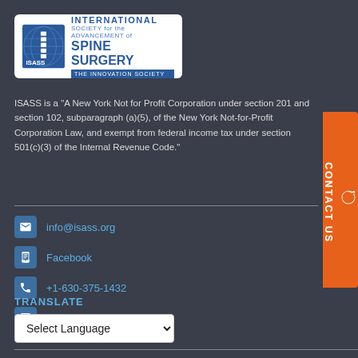[Figure (logo): ISASS - International Society for the Advancement of Spine Surgery logo with spine graphic and blue text on white background]
ISASS is a "A New York Not for Profit Corporation under section 201 and section 102, subparagraph (a)(5), of the New York Not-for-Profit Corporation Law, and exempt from federal income tax under section 501(c)(3) of the Internal Revenue Code."
info@isass.org
Facebook
+1-630-375-1432
Sign Up for emails
TRANSLATE